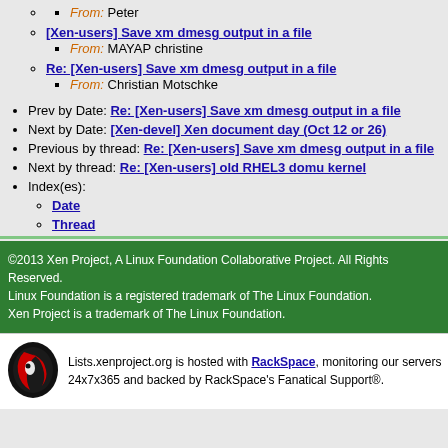From: Peter
[Xen-users] Save xm dmesg output in a file
From: MAYAP christine
Re: [Xen-users] Save xm dmesg output in a file
From: Christian Motschke
Prev by Date: Re: [Xen-users] Save xm dmesg output in a file
Next by Date: [Xen-devel] Xen document day (Oct 12 or 26)
Previous by thread: Re: [Xen-users] Save xm dmesg output in a file
Next by thread: Re: [Xen-users] old RHEL3 domu kernel
Index(es):
Date
Thread
©2013 Xen Project, A Linux Foundation Collaborative Project. All Rights Reserved. Linux Foundation is a registered trademark of The Linux Foundation. Xen Project is a trademark of The Linux Foundation.
Lists.xenproject.org is hosted with RackSpace, monitoring our servers 24x7x365 and backed by RackSpace's Fanatical Support®.